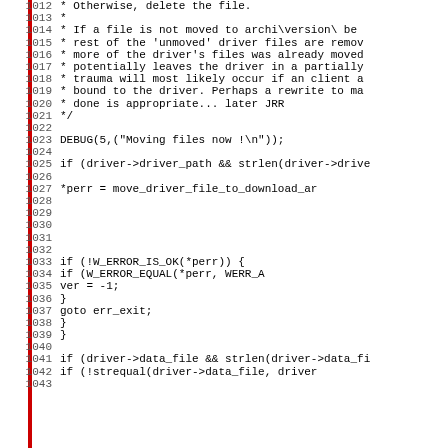[Figure (other): Source code listing in C, lines 1012-1043, showing file driver move logic with comments, DEBUG macro, if statements, error handling with W_ERROR_IS_OK, W_ERROR_EQUAL, goto err_exit, and closing braces.]